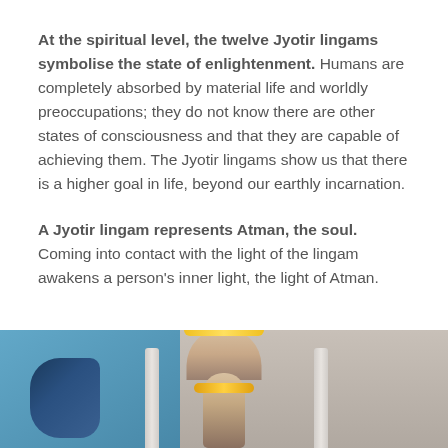At the spiritual level, the twelve Jyotir lingams symbolise the state of enlightenment. Humans are completely absorbed by material life and worldly preoccupations; they do not know there are other states of consciousness and that they are capable of achieving them. The Jyotir lingams show us that there is a higher goal in life, beyond our earthly incarnation.
A Jyotir lingam represents Atman, the soul. Coming into contact with the light of the lingam awakens a person's inner light, the light of Atman.
[Figure (photo): Photo of a Jyotir lingam / cobra statue decorated with white and yellow flower garlands, flanked by white marble pillars, with a blue background on the left side and gray on the right. A snake figure is visible on the left.]